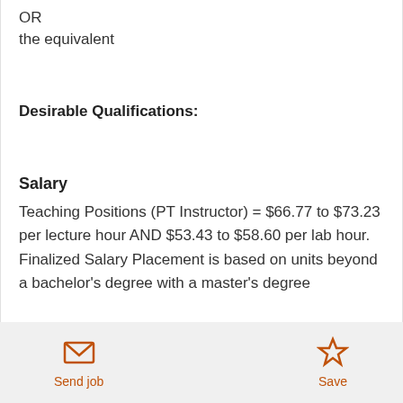OR
the equivalent
Desirable Qualifications:
Salary
Teaching Positions (PT Instructor) = $66.77 to $73.23 per lecture hour AND $53.43 to $58.60 per lab hour. Finalized Salary Placement is based on units beyond a bachelor's degree with a master's degree
Send job | Save